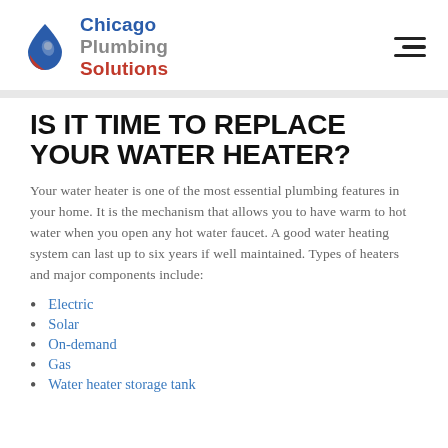Chicago Plumbing Solutions
IS IT TIME TO REPLACE YOUR WATER HEATER?
Your water heater is one of the most essential plumbing features in your home. It is the mechanism that allows you to have warm to hot water when you open any hot water faucet. A good water heating system can last up to six years if well maintained. Types of heaters and major components include:
Electric
Solar
On-demand
Gas
Water heater storage tank